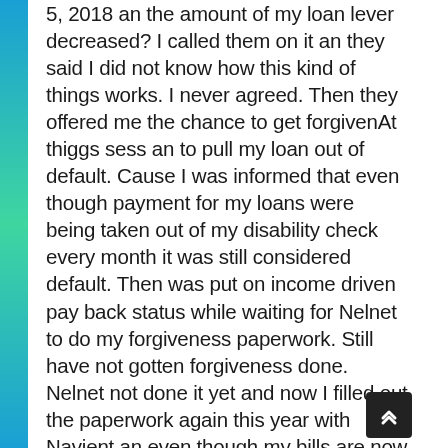5, 2018 an the amount of my loan lever decreased? I called them on it an they said I did not know how this kind of things works. I never agreed. Then they offered me the chance to get forgivenAt thiggs sess an to pull my loan out of default. Cause I was informed that even though payment for my loans were being taken out of my disability check every month it was still considered default. Then was put on income driven pay back status while waiting for Nelnet to do my forgiveness paperwork. Still have not gotten forgiveness done. Nelnet not done it yet and now I filled out the paperwork again this year with Navient an even though my bills are now high they are saying that I am going to hav they are saying that I am going to hav